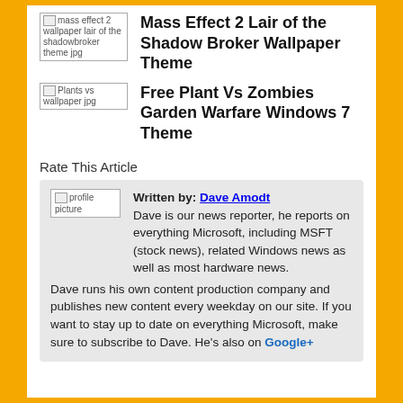[Figure (illustration): Broken image placeholder for 'mass effect 2 wallpaper lair of the shadowbroker theme jpg']
Mass Effect 2 Lair of the Shadow Broker Wallpaper Theme
[Figure (illustration): Broken image placeholder for 'Plants vs wallpaper jpg']
Free Plant Vs Zombies Garden Warfare Windows 7 Theme
Rate This Article
[Figure (illustration): Broken image placeholder for 'profile picture']
Written by: Dave Amodt
Dave is our news reporter, he reports on everything Microsoft, including MSFT (stock news), related Windows news as well as most hardware news. Dave runs his own content production company and publishes new content every weekday on our site. If you want to stay up to date on everything Microsoft, make sure to subscribe to Dave. He's also on Google+